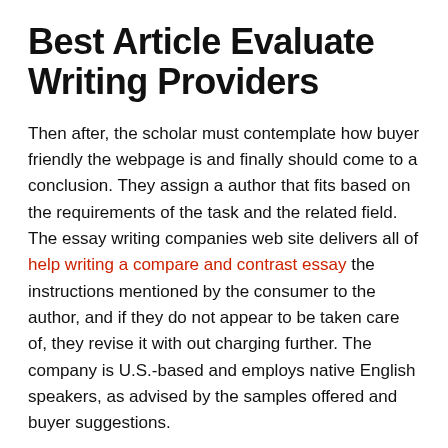Best Article Evaluate Writing Providers
Then after, the scholar must contemplate how buyer friendly the webpage is and finally should come to a conclusion. They assign a author that fits based on the requirements of the task and the related field. The essay writing companies web site delivers all of help writing a compare and contrast essay the instructions mentioned by the consumer to the author, and if they do not appear to be taken care of, they revise it with out charging further. The company is U.S.-based and employs native English speakers, as advised by the samples offered and buyer suggestions.
We'll have it done in 6 or 12 hours – it's all as a lot as you. For high school, university, and school students, an